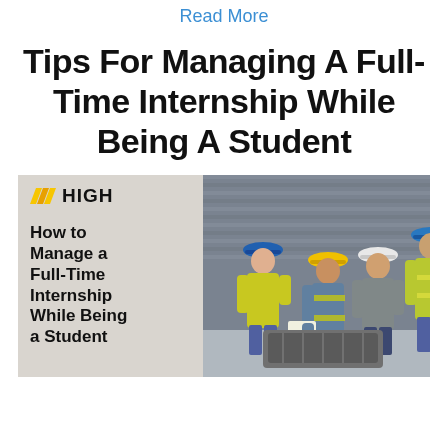Read More
Tips For Managing A Full-Time Internship While Being A Student
[Figure (illustration): Promotional image card with HIGH company logo on left side with text 'How to Manage a Full-Time Internship While Being a Student', and on the right a photo of four construction workers in hard hats and safety vests looking at a document]